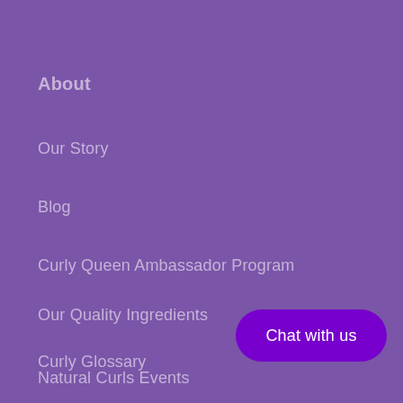About
Our Story
Blog
Curly Queen Ambassador Program
Our Quality Ingredients
Curly Glossary
Natural Curls Events
Chat with us